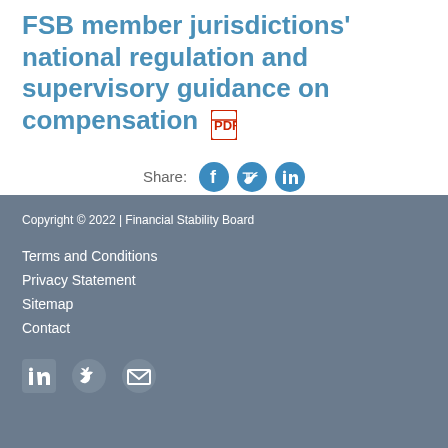FSB member jurisdictions' national regulation and supervisory guidance on compensation
Share:
Copyright © 2022 | Financial Stability Board
Terms and Conditions
Privacy Statement
Sitemap
Contact